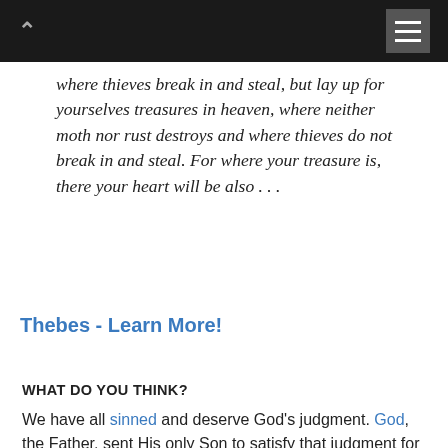Navigation bar with caret/up icon and hamburger menu
where thieves break in and steal, but lay up for yourselves treasures in heaven, where neither moth nor rust destroys and where thieves do not break in and steal. For where your treasure is, there your heart will be also . . .
Thebes - Learn More!
WHAT DO YOU THINK?
We have all sinned and deserve God's judgment. God, the Father, sent His only Son to satisfy that judgment for those who